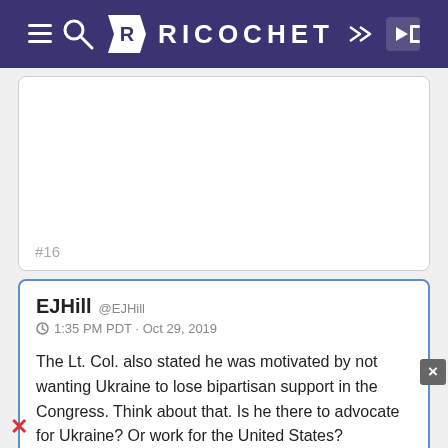RICOCHET
#16
EJHill @EJHill
1:35 PM PDT · Oct 29, 2019

The Lt. Col. also stated he was motivated by not wanting Ukraine to lose bipartisan support in the Congress. Think about that. Is he there to advocate for Ukraine? Or work for the United States?